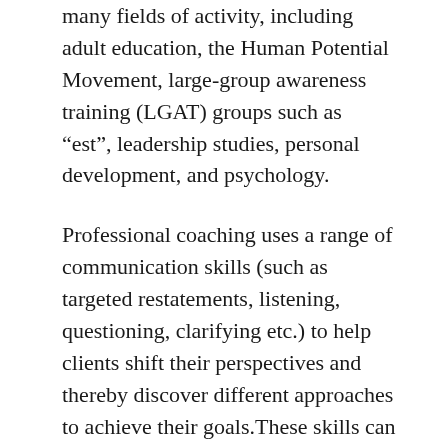many fields of activity, including adult education, the Human Potential Movement, large-group awareness training (LGAT) groups such as “est”, leadership studies, personal development, and psychology.
Professional coaching uses a range of communication skills (such as targeted restatements, listening, questioning, clarifying etc.) to help clients shift their perspectives and thereby discover different approaches to achieve their goals.These skills can be used in almost all types of coaching. In this sense, coaching is a form of “meta-profession” that can apply to supporting clients in any human endeavor, ranging from their concerns in health, personal, professional, sport, social, family, political, spiritual dimensions, etc. There may be some overlap between